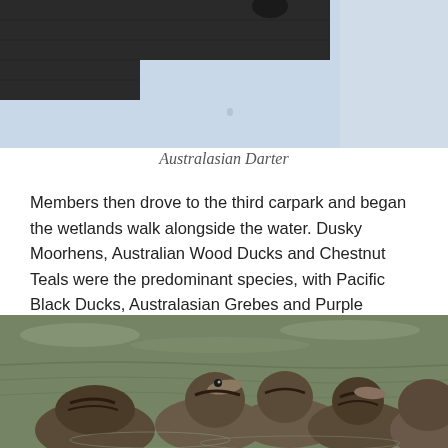[Figure (photo): Partial view of an Australasian Darter bird on a dark wooden perch against a light blue sky background — top portion of the bird/structure visible]
Australasian Darter
Members then drove to the third carpark and began the wetlands walk alongside the water. Dusky Moorhens, Australian Wood Ducks and Chestnut Teals were the predominant species, with Pacific Black Ducks, Australasian Grebes and Purple Swamphens in smaller numbers.
[Figure (photo): A group of ducks swimming on a greenish-brown wetland water surface, viewed from a low angle]